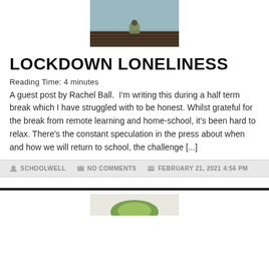[Figure (photo): A child sitting on a wooden dock/pier, viewed from behind, in a foggy or misty outdoor setting, wearing a green outfit]
LOCKDOWN LONELINESS
Reading Time: 4 minutes
A guest post by Rachel Ball.  I'm writing this during a half term break which I have struggled with to be honest. Whilst grateful for the break from remote learning and home-school, it's been hard to relax. There's the constant speculation in the press about when and how we will return to school, the challenge [...]
SCHOOLWELL   NO COMMENTS   FEBRUARY 21, 2021 4:56 PM
[Figure (photo): Partial view of a second article image, appears to show a green plant or leaf on a light background]